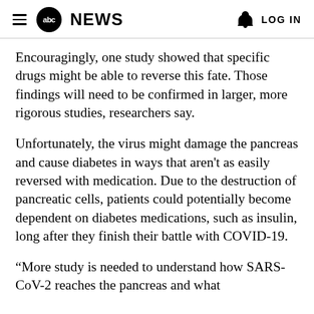abc NEWS  LOG IN
Encouragingly, one study showed that specific drugs might be able to reverse this fate. Those findings will need to be confirmed in larger, more rigorous studies, researchers say.
Unfortunately, the virus might damage the pancreas and cause diabetes in ways that aren't as easily reversed with medication. Due to the destruction of pancreatic cells, patients could potentially become dependent on diabetes medications, such as insulin, long after they finish their battle with COVID-19.
“More study is needed to understand how SARS-CoV-2 reaches the pancreas and what